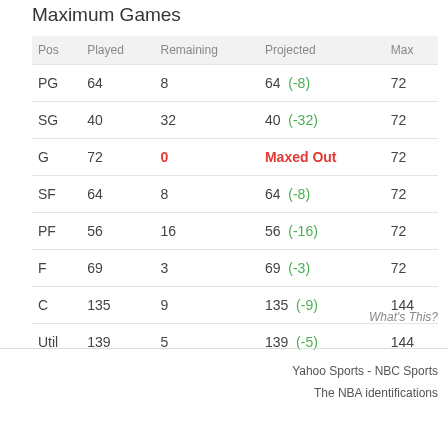Maximum Games
| Pos | Played | Remaining | Projected | Max |
| --- | --- | --- | --- | --- |
| PG | 64 | 8 | 64  (-8) | 72 |
| SG | 40 | 32 | 40  (-32) | 72 |
| G | 72 | 0 | Maxed Out | 72 |
| SF | 64 | 8 | 64  (-8) | 72 |
| PF | 56 | 16 | 56  (-16) | 72 |
| F | 69 | 3 | 69  (-3) | 72 |
| C | 135 | 9 | 135  (-9) | 144 |
| Util | 139 | 5 | 139  (-5) | 144 |
What's This?
Yahoo Sports - NBC Sports
The NBA identifications